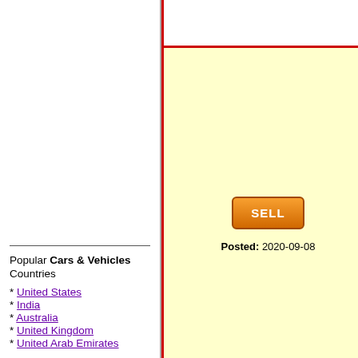Location: Kota, India
[Figure (screenshot): CredR Showroom listing with SELL button, Posted 2020-09-08, Location: Pune, India]
[Figure (screenshot): CredR Showroom listing with SELL button, Posted 2020-09-08, Location: Hyderabad, India]
[Figure (screenshot): CredR Showroom partial listing with SELL button]
Popular Cars & Vehicles Countries
United States
India
Australia
United Kingdom
United Arab Emirates